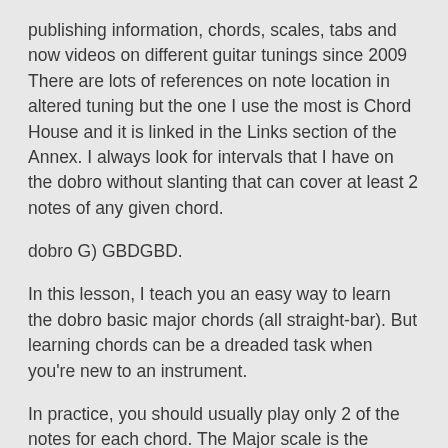publishing information, chords, scales, tabs and now videos on different guitar tunings since 2009 There are lots of references on note location in altered tuning but the one I use the most is Chord House and it is linked in the Links section of the Annex. I always look for intervals that I have on the dobro without slanting that can cover at least 2 notes of any given chord.
dobro G) GBDGBD.
In this lesson, I teach you an easy way to learn the dobro basic major chords (all straight-bar). But learning chords can be a dreaded task when you're new to an instrument.
In practice, you should usually play only 2 of the notes for each chord. The Major scale is the familiar do re mi scale. The largest database for alternative guitar tunings on the internet. I think 2 note chords are very useful, and I think slanting is over-rated.
One of the questions I hear most about playing 6 string dobro...